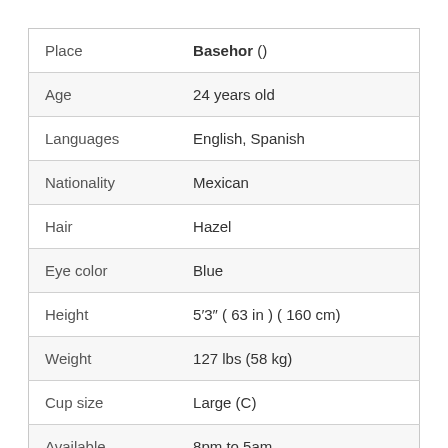| Place | Basehor () |
| Age | 24 years old |
| Languages | English, Spanish |
| Nationality | Mexican |
| Hair | Hazel |
| Eye color | Blue |
| Height | 5′3″ ( 63 in ) ( 160 cm) |
| Weight | 127 lbs (58 kg) |
| Cup size | Large (C) |
| Available | 8pm to 5am |